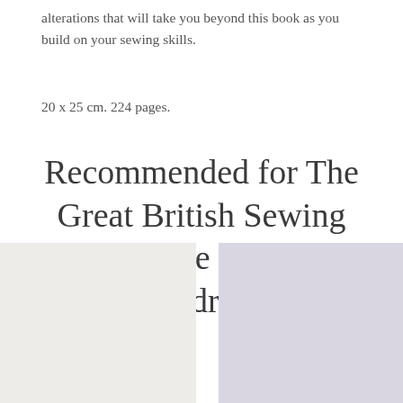alterations that will take you beyond this book as you build on your sewing skills.
20 x 25 cm. 224 pages.
Recommended for The Great British Sewing Bee - The Modern Wardrobe
[Figure (photo): Three book cover images shown side by side: a light beige/off-white cover on the left, a lavender/light purple cover in the center, and a light cream/off-white cover partially visible on the right.]